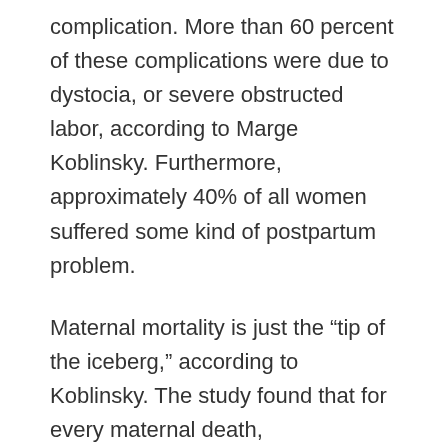complication. More than 60 percent of these complications were due to dystocia, or severe obstructed labor, according to Marge Koblinsky. Furthermore, approximately 40% of all women suffered some kind of postpartum problem.
Maternal mortality is just the “tip of the iceberg,” according to Koblinsky. The study found that for every maternal death, approximately 38 women suffer obstetric complications – equivalent to an estimated 20 million women worldwide. Furthermore, the level of neonatal deaths was five times higher among women who had suffered a complication, even up to two years post-delivery.